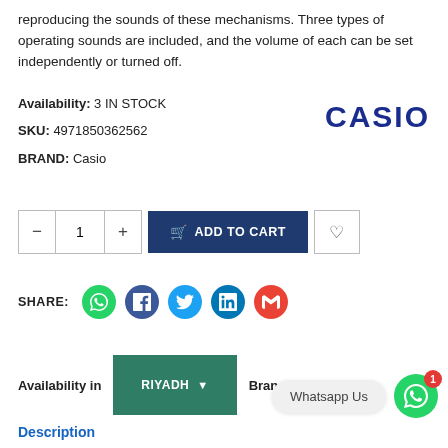reproducing the sounds of these mechanisms. Three types of operating sounds are included, and the volume of each can be set independently or turned off.
Availability: 3 IN STOCK
SKU: 4971850362562
BRAND: Casio
[Figure (logo): CASIO brand logo in dark blue bold text]
[Figure (screenshot): Add to cart controls: quantity selector (minus, 1, plus), Add to Cart button, and wishlist heart button]
SHARE: (WhatsApp, Facebook, Twitter, LinkedIn, Gmail icons)
Availability in RIYADH Branches
Whatsapp Us
Description